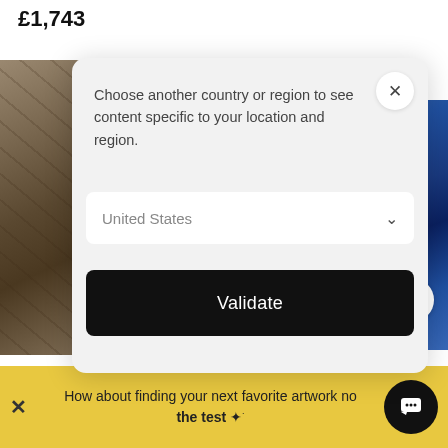£1,743
[Figure (photo): Artwork image left - Gaël Rouxeville Silhouettes 2022, brown/earth tones]
[Figure (photo): Artwork image right - Gaël Rouxeville Silhouettes 2022, blue tones]
Choose another country or region to see content specific to your location and region.
United States
Validate
Gaël Rouxeville
Silhouettes, 2022
Gaël Rouxeville
Silhouettes, 2022
13 x 10.6 x 1.6 inch
How about finding your next favorite artwork now the test ✦
[Figure (screenshot): Modal dialog for country/region selection with United States dropdown and Validate button]